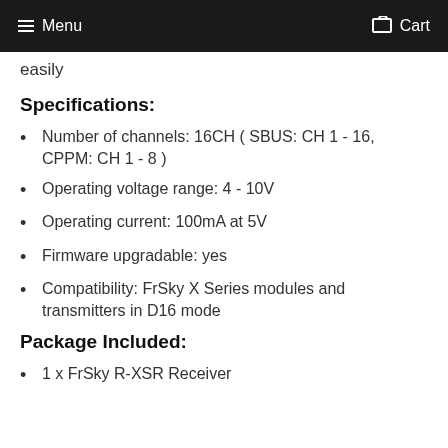Menu  Cart
easily
Specifications:
Number of channels: 16CH ( SBUS: CH 1 - 16, CPPM: CH 1 - 8 )
Operating voltage range: 4 - 10V
Operating current: 100mA at 5V
Firmware upgradable: yes
Compatibility: FrSky X Series modules and transmitters in D16 mode
Package Included:
1 x FrSky R-XSR Receiver